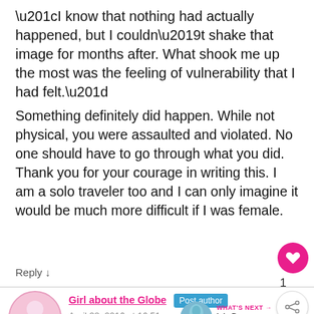“I know that nothing had actually happened, but I couldn’t shake that image for months after. What shook me up the most was the feeling of vulnerability that I had felt.”
Something definitely did happen. While not physical, you were assaulted and violated. No one should have to go through what you did. Thank you for your courage in writing this. I am a solo traveler too and I can only imagine it would be much more difficult if I was female.
Reply ↓
Girl about the Globe   Post author
April 28, 2016 at 16:51
WHAT’S NEXT → Isla De Ometepe...
Thanks so much for your kind words Alan.